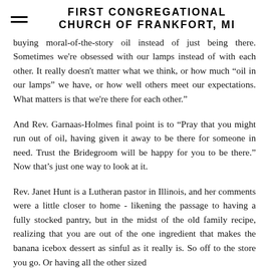FIRST CONGREGATIONAL CHURCH OF FRANKFORT, MI
buying moral-of-the-story oil instead of just being there. Sometimes we're obsessed with our lamps instead of with each other. It really doesn't matter what we think, or how much “oil in our lamps” we have, or how well others meet our expectations. What matters is that we're there for each other.”
And Rev. Garnaas-Holmes final point is to “Pray that you might run out of oil, having given it away to be there for someone in need. Trust the Bridegroom will be happy for you to be there.” Now that’s just one way to look at it.
Rev. Janet Hunt is a Lutheran pastor in Illinois, and her comments were a little closer to home - likening the passage to having a fully stocked pantry, but in the midst of the old family recipe, realizing that you are out of the one ingredient that makes the banana icebox dessert as sinful as it really is. So off to the store you go. Or having all the other sized